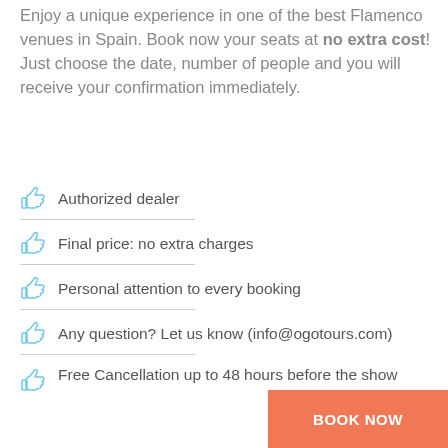Enjoy a unique experience in one of the best Flamenco venues in Spain. Book now your seats at no extra cost! Just choose the date, number of people and you will receive your confirmation immediately.
Authorized dealer
Final price: no extra charges
Personal attention to every booking
Any question? Let us know (info@ogotours.com)
Free Cancellation up to 48 hours before the show